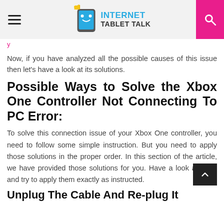Internet Tablet Talk
Now, if you have analyzed all the possible causes of this issue then let's have a look at its solutions.
Possible Ways to Solve the Xbox One Controller Not Connecting To PC Error:
To solve this connection issue of your Xbox One controller, you need to follow some simple instruction. But you need to apply those solutions in the proper order. In this section of the article, we have provided those solutions for you. Have a look at them and try to apply them exactly as instructed.
Unplug The Cable And Re-plug It